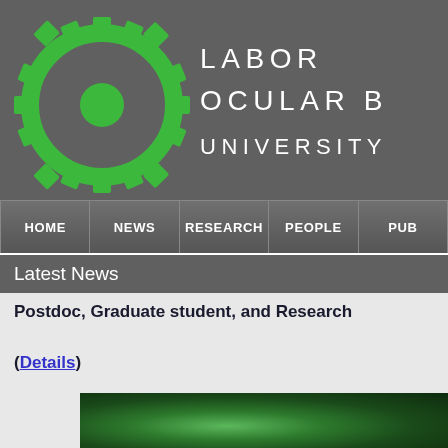[Figure (logo): Green gear/cog logo on dark gray background representing a laboratory]
LABOR OCULAR B UNIVERSITY
HOME | NEWS | RESEARCH | PEOPLE | PUB
Latest News
Postdoc, Graduate student, and Research (Details)
[Figure (photo): Green blurred microscopy or nature image at bottom of page]